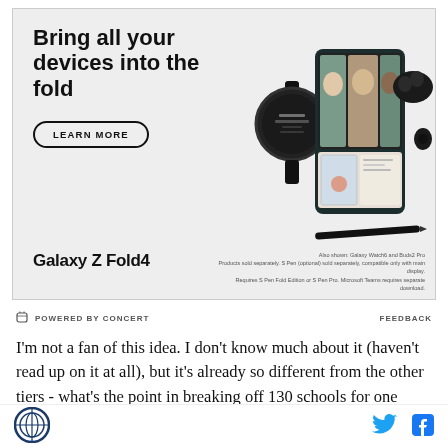[Figure (illustration): Samsung Galaxy Z Fold4 advertisement banner showing the text 'Bring all your devices into the fold', a LEARN MORE button, Samsung Galaxy Watch6, Galaxy Z Fold4 (foldable phone with video call on screen), Buds2 Pro earbuds, and S Pen. Bottom text reads 'Galaxy Z Fold4' and disclaimer text.]
Also shown: Galaxy Watch6 and Buds2 Pro
Products sold separately. S Pen (optional) sold separately, compatible only with main display.
Requires S Pen Fold Edition or S Pen Pro. Microsoft Teams requires separate download.
POWERED BY CONCERT
FEEDBACK
I'm not a fan of this idea. I don't know much about it (haven't read up on it at all), but it's already so different from the other tiers - what's the point in breaking off 130 schools for one apart from the rest of their
[Figure (logo): Circular logo with globe/compass design in dark blue]
[Figure (logo): Twitter bird icon in cyan blue]
[Figure (logo): Facebook f icon in blue]